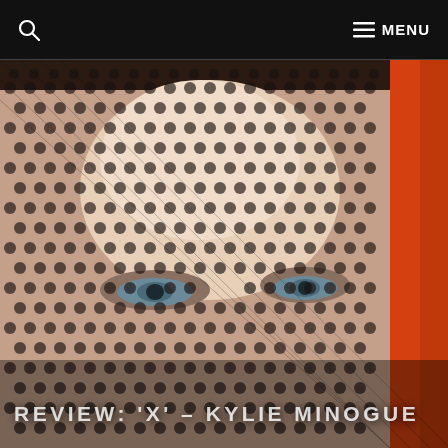MENU
[Figure (photo): Close-up photograph of a woman's face (Kylie Minogue) covered by a black hexagonal mesh/net veil, showing her eyes through the pattern. Red hair or fabric is visible on the right side. The image is used as a hero banner for an album review article.]
REVIEW: 'X' – KYLIE MINOGUE